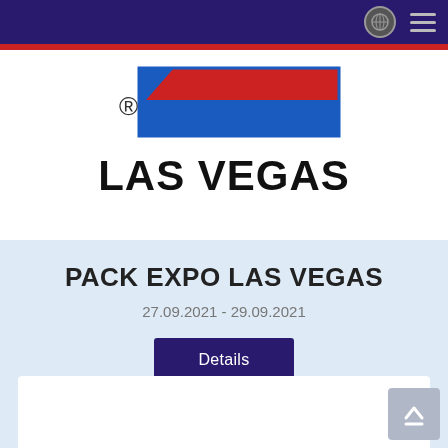Navigation bar with globe icon and hamburger menu
[Figure (logo): PACK EXPO Las Vegas logo — blue and red geometric design with registered trademark symbol and 'LAS VEGAS' text in bold black]
PACK EXPO LAS VEGAS
27.09.2021 - 29.09.2021
Details